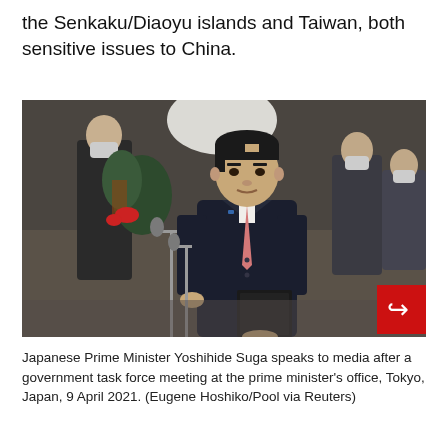the Senkaku/Diaoyu islands and Taiwan, both sensitive issues to China.
[Figure (photo): Japanese Prime Minister Yoshihide Suga stands at microphones speaking to media after a government task force meeting at the prime minister's office in Tokyo, Japan, 9 April 2021. He wears a dark suit with a pink tie and blue pin. Several masked officials stand in the background.]
Japanese Prime Minister Yoshihide Suga speaks to media after a government task force meeting at the prime minister's office, Tokyo, Japan, 9 April 2021. (Eugene Hoshiko/Pool via Reuters)